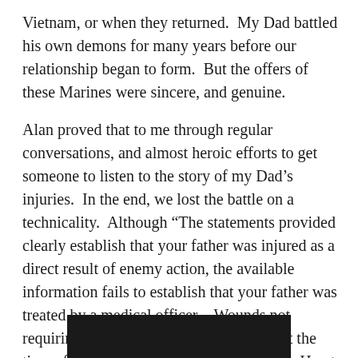Vietnam, or when they returned.  My Dad battled his own demons for many years before our relationship began to form.  But the offers of these Marines were sincere, and genuine.
Alan proved that to me through regular conversations, and almost heroic efforts to get someone to listen to the story of my Dad’s injuries.  In the end, we lost the battle on a technicality.  Although “The statements provided clearly establish that your father was injured as a direct result of enemy action, the available information fails to establish that your father was treated by a medical officer…Wounds not requiring treatment by a medical officer at the time of injury do not qualify for the Purple Heart Medal.”  The letter was cold.  The case was closed.
[Figure (photo): A dark/black rectangular image block at the bottom center of the page, partially cut off.]